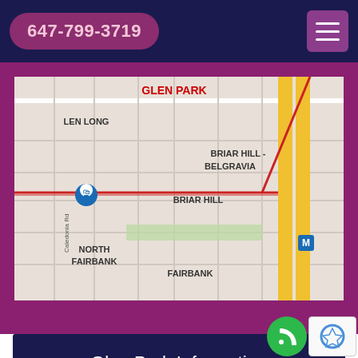647-799-3719
[Figure (map): Street map showing Glen Park, Briar Hill-Belgravia, Briar Hill, North Fairbank, Fairbank, and Glen Long neighborhoods with Roselawn Ave, Caledonia Rd, and a metro station marker]
Glen Park Information